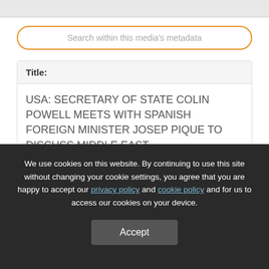Search within this media's metadata
Title:
USA: SECRETARY OF STATE COLIN POWELL MEETS WITH SPANISH FOREIGN MINISTER JOSEP PIQUE TO DISCUSS MIDDLE EAST
Date:
We use cookies on this website. By continuing to use this site without changing your cookie settings, you agree that you are happy to accept our privacy policy and cookie policy and for us to access our cookies on your device.
Accept